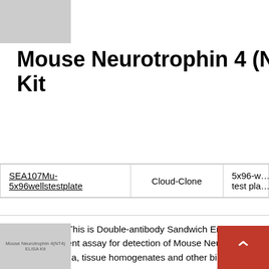[Figure (photo): Logo placeholder image in top left corner]
Mouse Neurotrophin 4 (N... Kit
| SEA107Mu-5x96wellstestplate | Cloud-Clone | 5x96-w... test pla... |
| --- | --- | --- |
Description: This is Double-antibody Sandwich Enzyme-linked immunosorbent assay for detection of Mouse Neuro... serum, plasma, tissue homogenates and other biolo...
[Figure (photo): Mouse Neurotrophin 4(NT4) ELISA Kit product image thumbnail]